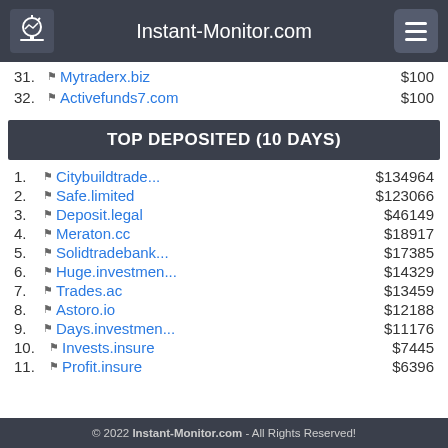Instant-Monitor.com
31. Mytraderx.biz $100
32. Activefunds7.com $100
TOP DEPOSITED (10 DAYS)
1. Citybuildtrade... $134964
2. Safe.limited $123066
3. Deposit.legal $46149
4. Meraton.cc $18917
5. Solidtradebank... $17385
6. Huge.investmen... $14329
7. Trades.ac $13459
8. Astoro.io $12188
9. Days.investmen... $11176
10. Invests.insure $7445
11. Profit.insure $6396
© 2022 Instant-Monitor.com - All Rights Reserved!